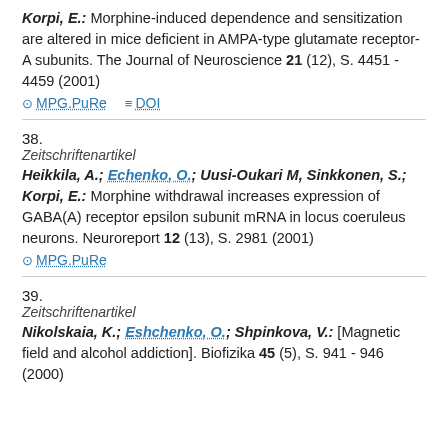Korpi, E.: Morphine-induced dependence and sensitization are altered in mice deficient in AMPA-type glutamate receptor-A subunits. The Journal of Neuroscience 21 (12), S. 4451 - 4459 (2001)
MPG.PuRe   DOI
38.
Zeitschriftenartikel
Heikkila, A.; Echenko, O.; Uusi-Oukari M, Sinkkonen, S.; Korpi, E.: Morphine withdrawal increases expression of GABA(A) receptor epsilon subunit mRNA in locus coeruleus neurons. Neuroreport 12 (13), S. 2981 (2001)
MPG.PuRe
39.
Zeitschriftenartikel
Nikolskaia, K.; Eshchenko, O.; Shpinkova, V.: [Magnetic field and alcohol addiction]. Biofizika 45 (5), S. 941 - 946 (2000)